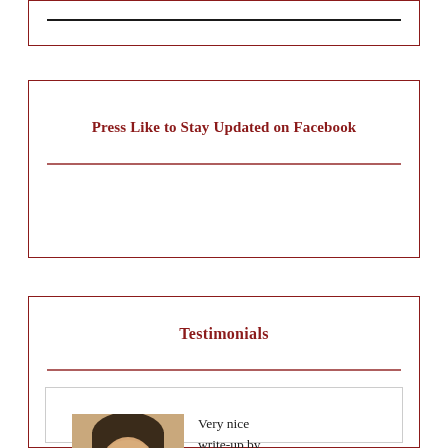[Figure (other): Top box with a horizontal black line inside a dark red border]
Press Like to Stay Updated on Facebook
Testimonials
Very nice write-up by BookStalkist of
[Figure (photo): Photo of a man wearing glasses, profile/headshot]